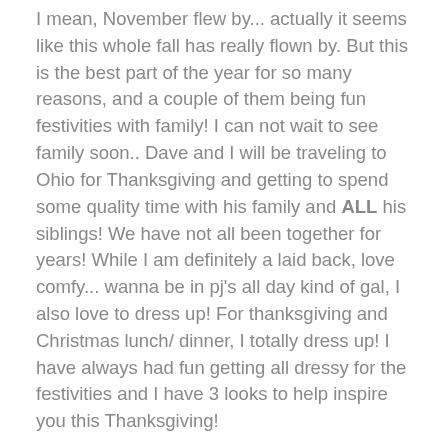I mean, November flew by... actually it seems like this whole fall has really flown by. But this is the best part of the year for so many reasons, and a couple of them being fun festivities with family! I can not wait to see family soon.. Dave and I will be traveling to Ohio for Thanksgiving and getting to spend some quality time with his family and ALL his siblings! We have not all been together for years! While I am definitely a laid back, love comfy... wanna be in pj's all day kind of gal, I also love to dress up! For thanksgiving and Christmas lunch/ dinner, I totally dress up! I have always had fun getting all dressy for the festivities and I have 3 looks to help inspire you this Thanksgiving!
I am so loving the belled sleeves this season! I have always loved the fashions of the 60's and 70's and with so many beautiful tops and dresses with bell sleeves, one just has to get a couple, right?!!! And I love a good pair of